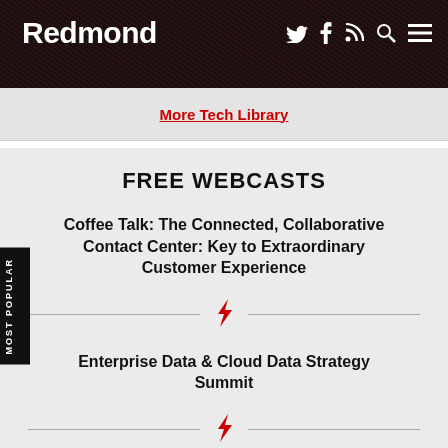Redmond
More Tech Library
FREE WEBCASTS
Coffee Talk: The Connected, Collaborative Contact Center: Key to Extraordinary Customer Experience
Enterprise Data & Cloud Data Strategy Summit